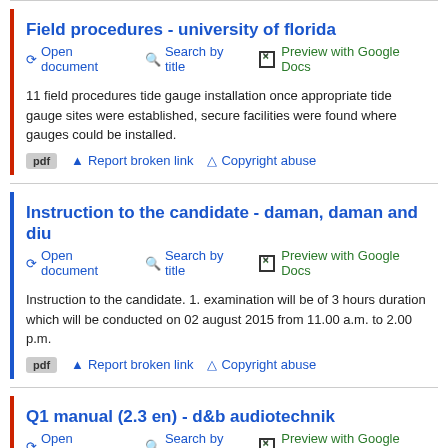Field procedures - university of florida
Open document  Search by title  Preview with Google Docs
11 field procedures tide gauge installation once appropriate tide gauge sites were established, secure facilities were found where gauges could be installed.
pdf  Report broken link  Copyright abuse
Instruction to the candidate - daman, daman and diu
Open document  Search by title  Preview with Google Docs
Instruction to the candidate. 1. examination will be of 3 hours duration which will be conducted on 02 august 2015 from 11.00 a.m. to 2.00 p.m.
pdf  Report broken link  Copyright abuse
Q1 manual (2.3 en) - d&b audiotechnik
Open document  Search by title  Preview with Google Docs